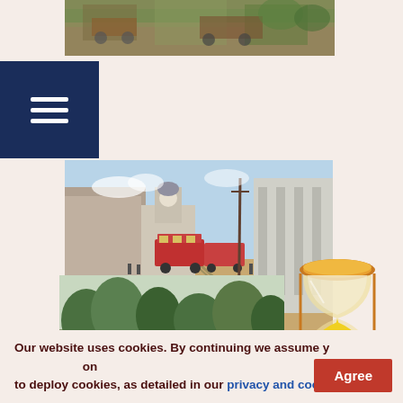[Figure (photo): Partial historical illustration or painting at the top of the page, cut off, showing an outdoor scene]
[Figure (illustration): Dark navy blue hamburger menu icon with three white horizontal lines on a dark blue square background]
[Figure (photo): Colorized historical photograph of a city street scene with trolley cars, large buildings including a clock tower, and pedestrians]
[Figure (photo): Partial historical photograph of a park or wooded area with trees]
[Figure (illustration): Hourglass emoji icon with golden/orange colors, partially overlapping the cookie consent banner]
Our website uses cookies. By continuing we assume your permission to deploy cookies, as detailed in our privacy and cookies policy.